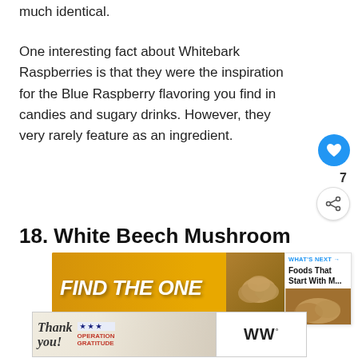much identical.
One interesting fact about Whitebark Raspberries is that they were the inspiration for the Blue Raspberry flavoring you find in candies and sugary drinks. However, they very rarely feature as an ingredient.
18. White Beech Mushroom
[Figure (other): Advertisement banner: gold/yellow background with white bold italic text 'FIND THE ONE' and a food image on the right showing potatoes, with 'WHAT'S NEXT' label and text 'Foods That Start With M...']
[Figure (other): Advertisement banner: 'Thank you!' with Operation Gratitude branding showing firefighters, with a close button and WW logo]